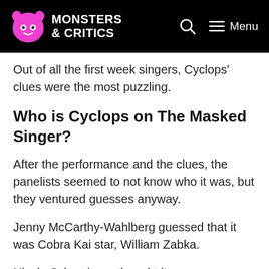Monsters & Critics
Out of all the first week singers, Cyclops' clues were the most puzzling.
Who is Cyclops on The Masked Singer?
After the performance and the clues, the panelists seemed to not know who it was, but they ventured guesses anyway.
Jenny McCarthy-Wahlberg guessed that it was Cobra Kai star, William Zabka.
Nicole Scherzinger thought it was a comedian under the mask, and she guessed Danny